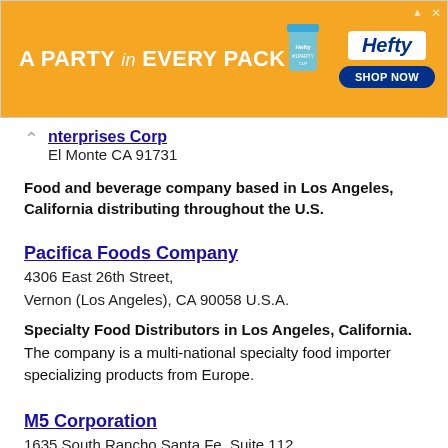[Figure (photo): Hefty advertisement banner with orange background. Text reads 'A PARTY in EVERY PACK' with Hefty Party Cup product image and 'SHOP NOW' button.]
Enterprises Corp
El Monte CA 91731
Food and beverage company based in Los Angeles, California distributing throughout the U.S.
Pacifica Foods Company
4306 East 26th Street,
Vernon (Los Angeles), CA 90058 U.S.A.
Specialty Food Distributors in Los Angeles, California. The company is a multi-national specialty food importer specializing products from Europe.
M5 Corporation
1635 South Rancho Santa Fe, Suite 112
San Marcos, CA 92078